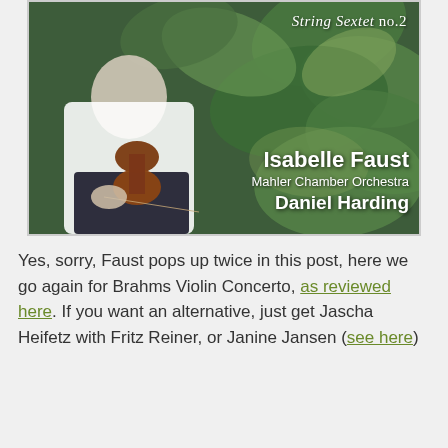[Figure (photo): Album cover for Brahms String Sextet no.2 featuring violinist Isabelle Faust with Mahler Chamber Orchestra conducted by Daniel Harding. Shows a woman in a white shirt holding a violin, surrounded by green leafy background. Text reads 'String Sextet no.2', 'Isabelle Faust', 'Mahler Chamber Orchestra', 'Daniel Harding'.]
Yes, sorry, Faust pops up twice in this post, here we go again for Brahms Violin Concerto, as reviewed here. If you want an alternative, just get Jascha Heifetz with Fritz Reiner, or Janine Jansen (see here)